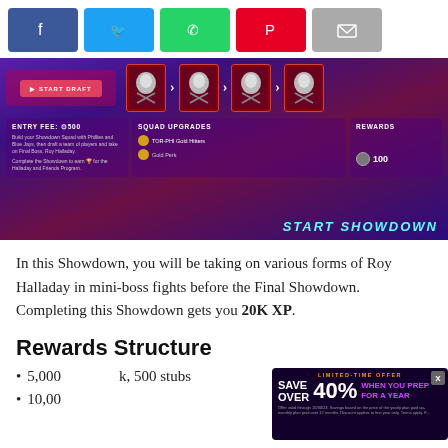[Figure (screenshot): Social media share buttons: Facebook (blue), Twitter (cyan), WhatsApp (green), Pinterest (red), Email (gray)]
[Figure (screenshot): MLB The Show game screenshot showing Showdown mode with START DRAFT button, player cards, ENTRY FEE: 500, SQUAD UPGRADES (TOR-PHI Gold Hitters, Gold Perk), REWARDS (100 stubs), START SHOWDOWN text]
In this Showdown, you will be taking on various forms of Roy Halladay in mini-boss fights before the Final Showdown. Completing this Showdown gets you 20K XP.
Rewards Structure
5,000 XP, Halladay Headliner Pack, 500 stubs
10,000 ... 000 ...